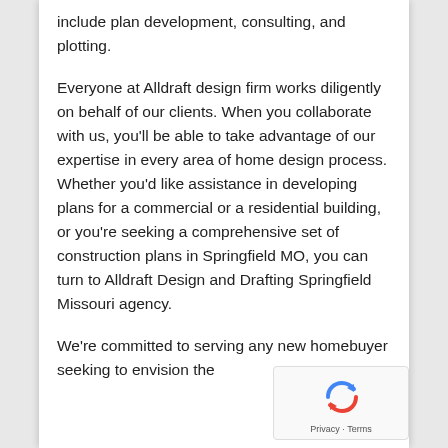include plan development, consulting, and plotting.
Everyone at Alldraft design firm works diligently on behalf of our clients. When you collaborate with us, you'll be able to take advantage of our expertise in every area of home design process. Whether you'd like assistance in developing plans for a commercial or a residential building, or you're seeking a comprehensive set of construction plans in Springfield MO, you can turn to Alldraft Design and Drafting Springfield Missouri agency.
We're committed to serving any new homebuyer seeking to envision the